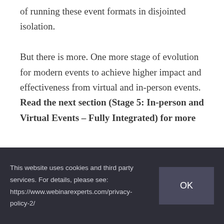of running these event formats in disjointed isolation.

But there is more. One more stage of evolution for modern events to achieve higher impact and effectiveness from virtual and in-person events. Read the next section (Stage 5: In-person and Virtual Events – Fully Integrated) for more
This website uses cookies and third party services. For details, please see: https://www.webinarexperts.com/privacy-policy-2/